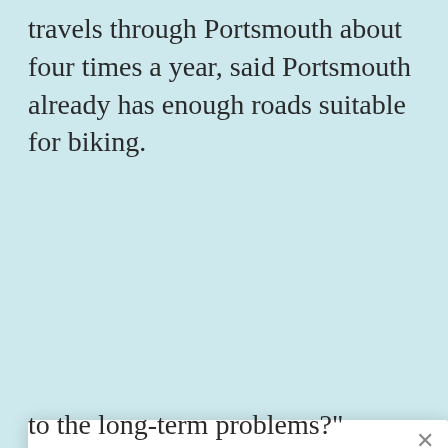travels through Portsmouth about four times a year, said Portsmouth already has enough roads suitable for biking.
[Figure (screenshot): Modal popup overlay on a news article page with a newsletter subscription prompt. Contains a close button (×), heading 'Get environmental news in your inbox every Tuesday', an email input field with placeholder 'Your email', and an orange 'Subscribe' button. A small AddThis badge appears in the bottom right corner.]
to the long-term problems?"